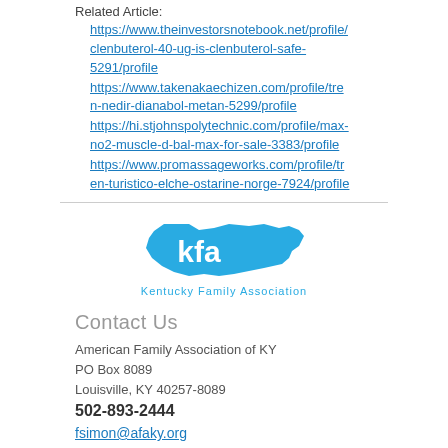Related Article:
https://www.theinvestorsnotebook.net/profile/clenbuterol-40-ug-is-clenbuterol-safe-5291/profile
https://www.takenakaechizen.com/profile/tren-nedir-dianabol-metan-5299/profile
https://hi.stjohnspolytechnic.com/profile/max-no2-muscle-d-bal-max-for-sale-3383/profile
https://www.promassageworks.com/profile/tren-turistico-elche-ostarine-norge-7924/profile
[Figure (logo): Kentucky Family Association (kfa) logo with teal Kentucky state shape and text 'kfa Kentucky Family Association']
Contact Us
American Family Association of KY
PO Box 8089
Louisville, KY 40257-8089
502-893-2444
fsimon@afaky.org